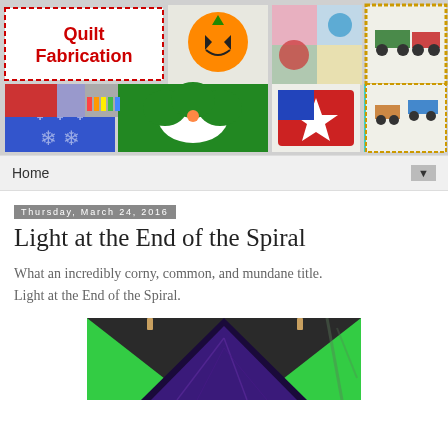[Figure (illustration): QuiltFabrication blog header banner with logo and collage of quilt images including Halloween, floral, patriotic, cat, and monster truck themed quilts]
Home ▼
Thursday, March 24, 2016
Light at the End of the Spiral
What an incredibly corny, common, and mundane title. Light at the End of the Spiral.
[Figure (photo): Photo of a quilt hanging outdoors with green triangular borders and a dark colorful center spiral pattern]